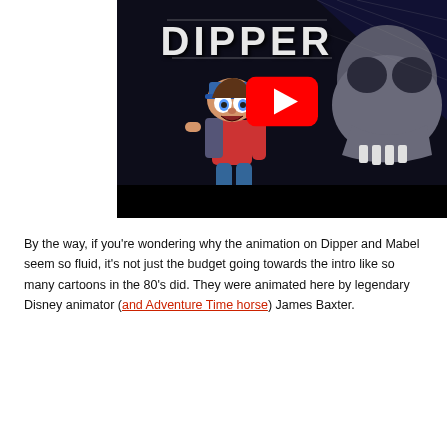[Figure (screenshot): YouTube video thumbnail showing an animated scene from Gravity Falls. The character Dipper (a boy in a blue cap, scared expression, wearing a red shirt and backpack) runs in front of a dark spooky background featuring a large skeletal creature. The word 'DIPPER' is displayed in large distressed letters at the top. A YouTube play button (red rectangle with white triangle) is centered in the image.]
By the way, if you're wondering why the animation on Dipper and Mabel seem so fluid, it's not just the budget going towards the intro like so many cartoons in the 80's did. They were animated here by legendary Disney animator (and Adventure Time horse) James Baxter.